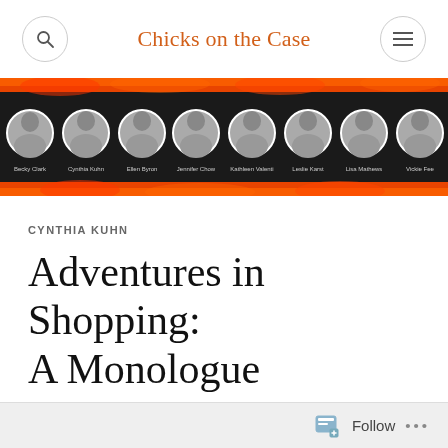Chicks on the Case
[Figure (photo): Blog header banner with black background, orange/red flame border, and 8 circular black-and-white author photos with names: Becky Clark, Cynthia Kuhn, Ellen Byron, Jennifer Chow, Kathleen Valenti, Leslie Karst, Lisa Mathews, Vickie Fee]
CYNTHIA KUHN
Adventures in Shopping: A Monologue
Follow ...